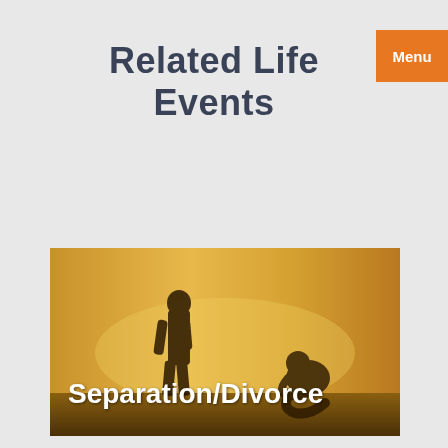Related Life Events
[Figure (photo): Silhouette of two people separated at sunset — one standing, one sitting with head down — representing separation or divorce. Text overlay reads 'Separation/Divorce' in bold white.]